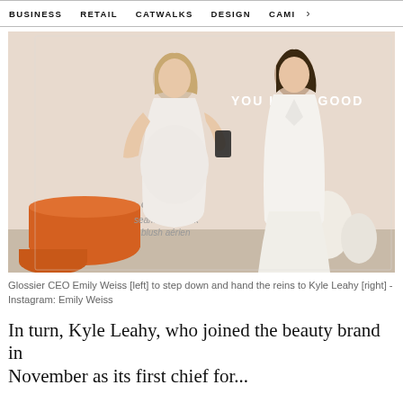BUSINESS   RETAIL   CATWALKS   DESIGN   CAMI  >
[Figure (photo): Two women standing in front of a mirror in a Glossier store. The woman on the left is visibly pregnant wearing a white pleated dress, taking a selfie. The woman on the right wears a white blazer and wide-leg pants. A sign reads 'YOU LOOK GOOD'. Glossier product labels visible: 'cloud paint seamless cheek blush aérien'.]
Glossier CEO Emily Weiss [left] to step down and hand the reins to Kyle Leahy [right] - Instagram: Emily Weiss
In turn, Kyle Leahy, who joined the beauty brand in November as its first chief for...